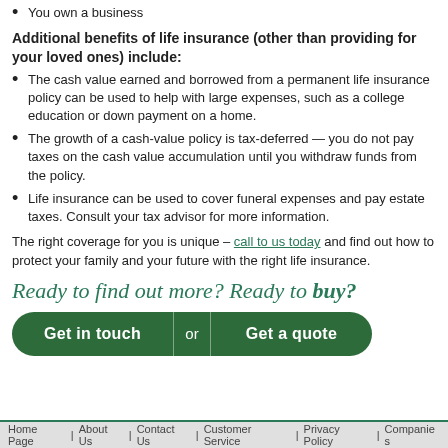You own a business
Additional benefits of life insurance (other than providing for your loved ones) include:
The cash value earned and borrowed from a permanent life insurance policy can be used to help with large expenses, such as a college education or down payment on a home.
The growth of a cash-value policy is tax-deferred — you do not pay taxes on the cash value accumulation until you withdraw funds from the policy.
Life insurance can be used to cover funeral expenses and pay estate taxes. Consult your tax advisor for more information.
The right coverage for you is unique – call to us today and find out how to protect your family and your future with the right life insurance.
Ready to find out more? Ready to buy?
Get in touch  or  Get a quote
Home Page  |  About Us  |  Contact Us  |  Customer Service  |  Privacy Policy  |  Companies